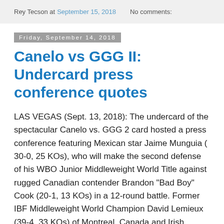Rey Tecson at September 15, 2018    No comments:
Friday, September 14, 2018
Canelo vs GGG II: Undercard press conference quotes
LAS VEGAS (Sept. 13, 2018): The undercard of the spectacular Canelo vs. GGG 2 card hosted a press conference featuring Mexican star Jaime Munguia ( 30-0, 25 KOs), who will make the second defense of his WBO Junior Middleweight World Title against rugged Canadian contender Brandon "Bad Boy" Cook (20-1, 13 KOs) in a 12-round battle. Former IBF Middleweight World Champion David Lemieux (39-4, 33 KOs) of Montreal, Canada and Irish warrior Gary "Spike" O'Sullivan (28-2, 20 KOs) of Cork, Ireland will go head-to-head in a 12-round middleweight battle that has Fight of the Year candidate written all over it. Former pound-for-pound king and former